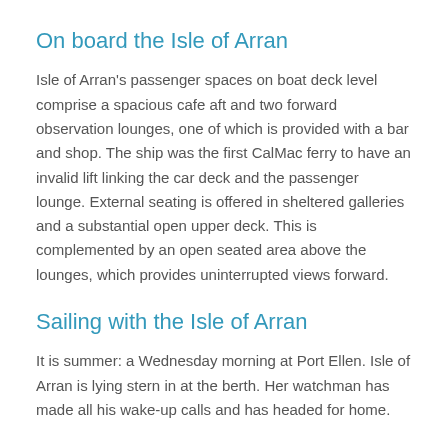On board the Isle of Arran
Isle of Arran's passenger spaces on boat deck level comprise a spacious cafe aft and two forward observation lounges, one of which is provided with a bar and shop. The ship was the first CalMac ferry to have an invalid lift linking the car deck and the passenger lounge. External seating is offered in sheltered galleries and a substantial open upper deck. This is complemented by an open seated area above the lounges, which provides uninterrupted views forward.
Sailing with the Isle of Arran
It is summer: a Wednesday morning at Port Ellen. Isle of Arran is lying stern in at the berth. Her watchman has made all his wake-up calls and has headed for home.